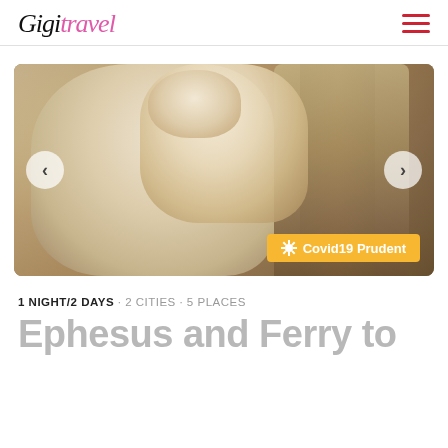Gigi Travel
[Figure (photo): A classical marble statue of a draped female figure, photographed from below, with ornate stone architectural column details in the background. The stone is warm beige/tan colored. A carousel navigation with left and right arrows overlays the image. A yellow badge reading '★ Covid19 Prudent' appears in the bottom right corner.]
1 NIGHT/2 DAYS · 2 CITIES · 5 PLACES
Ephesus and Ferry to